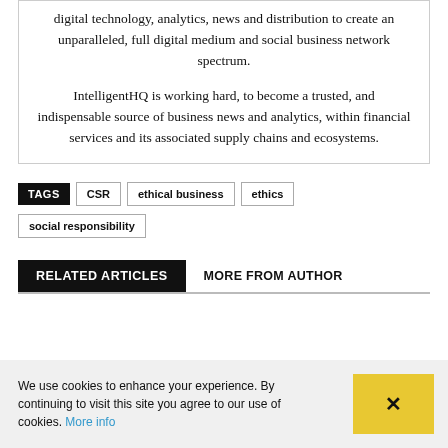digital technology, analytics, news and distribution to create an unparalleled, full digital medium and social business network spectrum.
IntelligentHQ is working hard, to become a trusted, and indispensable source of business news and analytics, within financial services and its associated supply chains and ecosystems.
TAGS  CSR  ethical business  ethics  social responsibility
RELATED ARTICLES  MORE FROM AUTHOR
We use cookies to enhance your experience. By continuing to visit this site you agree to our use of cookies. More info